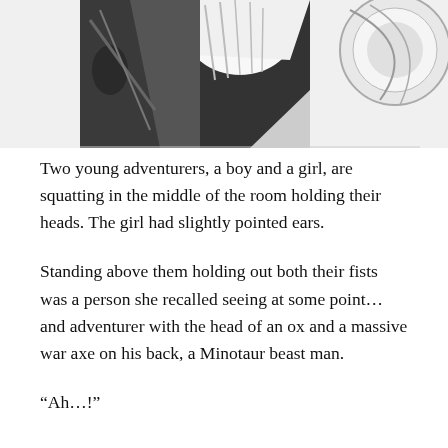[Figure (illustration): Manga/comic panel showing characters in black and white. The top portion of the image shows figures including what appears to be a person with light-colored hair and dark clothing, cropped at the bottom of the panel.]
Two young adventurers, a boy and a girl, are squatting in the middle of the room holding their heads. The girl had slightly pointed ears.
Standing above them holding out both their fists was a person she recalled seeing at some point... and adventurer with the head of an ox and a massive war axe on his back, a Minotaur beast man.
“Ah…!”